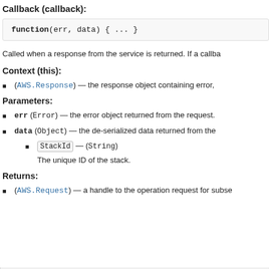Callback (callback):
Called when a response from the service is returned. If a callba
Context (this):
(AWS.Response) — the response object containing error,
Parameters:
err (Error) — the error object returned from the request.
data (Object) — the de-serialized data returned from the
StackId — (String)
The unique ID of the stack.
Returns:
(AWS.Request) — a handle to the operation request for subse